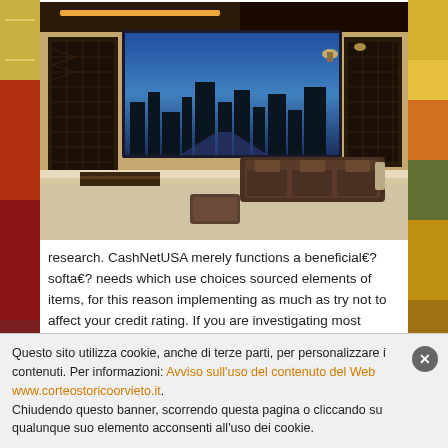[Figure (photo): A luxurious home theater room with a large projection screen showing a city skyline, dark leather stadium-style recliner seats, beige/tan walls with decorative panels, wall sconces, and beige carpet.]
research. CashNetUSA merely functions a beneficial€?softa€? needs which use choices sourced elements of items, for this reason implementing as much as try not to affect your credit rating. If you are investigating most useful cash advance other sites towards the-assortment, it's hard to genuinely know what you can purchase towards. Short-term financing, instance just
Questo sito utilizza cookie, anche di terze parti, per personalizzare i contenuti. Per informazioni: Avviso sull'uso del contenuto del Web www.corteostoricoorvieto.it.
Chiudendo questo banner, scorrendo questa pagina o cliccando su qualunque suo elemento acconsenti all'uso dei cookie.